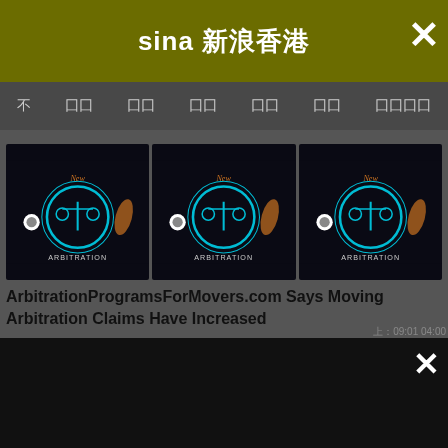新浪香港 (Sina Hong Kong) header with close button
[Figure (screenshot): Navigation bar with Chinese menu items]
[Figure (screenshot): Three thumbnail images of Arbitration Programs For Movers logo on dark background]
ArbitrationProgramsForMovers.com Says Moving Arbitration Claims Have Increased
上: 09:01  04:00  下: 09:01B  08:9
[Figure (screenshot): Bottom black panel with close button]